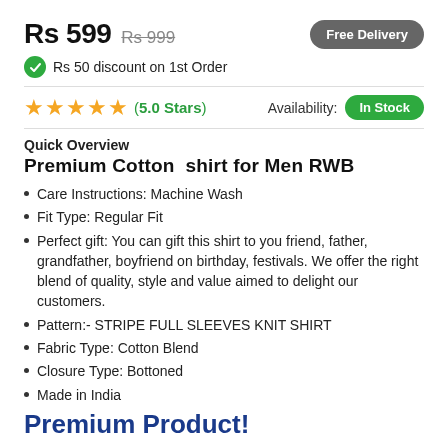Rs 599  Rs 999
Free Delivery
Rs 50 discount on 1st Order
★★★★★ (5.0 Stars)  Availability: In Stock
Quick Overview
Premium Cotton  shirt for Men RWB
Care Instructions: Machine Wash
Fit Type: Regular Fit
Perfect gift: You can gift this shirt to you friend, father, grandfather, boyfriend on birthday, festivals. We offer the right blend of quality, style and value aimed to delight our customers.
Pattern:- STRIPE FULL SLEEVES KNIT SHIRT
Fabric Type: Cotton Blend
Closure Type: Bottoned
Made in India
Premium Product!